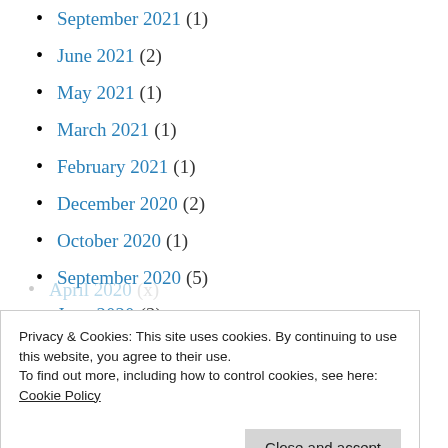September 2021 (1)
June 2021 (2)
May 2021 (1)
March 2021 (1)
February 2021 (1)
December 2020 (2)
October 2020 (1)
September 2020 (5)
June 2020 (2)
May 2020 (3)
Privacy & Cookies: This site uses cookies. By continuing to use this website, you agree to their use.
To find out more, including how to control cookies, see here:
Cookie Policy
October 2019 (1)